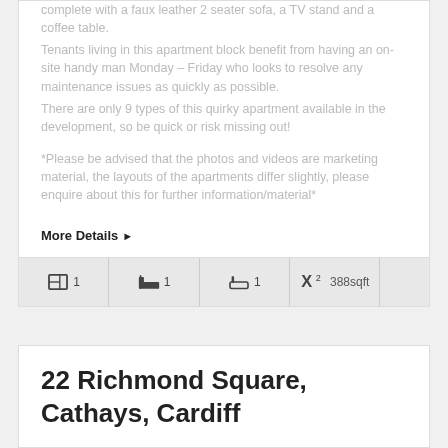complete with a faux leather 2 seater sofa, a TV stand and a coffee table.
Tenants living in this apartment block benefit from having an on-site handy man Monday – Friday who looks to resolve any maintenance issues as quickly as possible.
There are only 9 types of this quirky apartment available in the development, so be quick or risk missing out!
*Please be advised that the photos and videos are marketing material, the layouts of the apartments differ slightly, please enquire about this for further information/material*
More Details ▶
1  1  1  388sqft
22 Richmond Square, Cathays, Cardiff